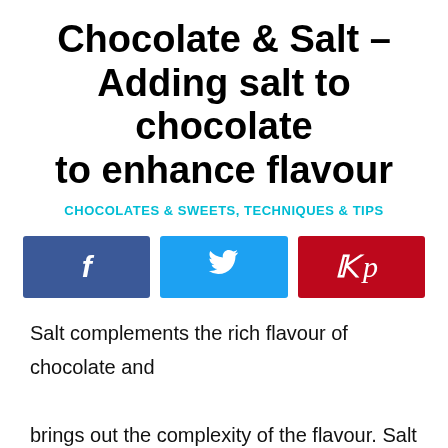Chocolate & Salt – Adding salt to chocolate to enhance flavour
CHOCOLATES & SWEETS, TECHNIQUES & TIPS
[Figure (infographic): Three social sharing buttons: Facebook (blue), Twitter (cyan), Pinterest (red)]
Salt complements the rich flavour of chocolate and brings out the complexity of the flavour. Salt is used
[Figure (infographic): Advertisement for High Point University MBA – Business Analytics program: BECOME A DATA-DRIVEN LEADER, with LEARN MORE button]